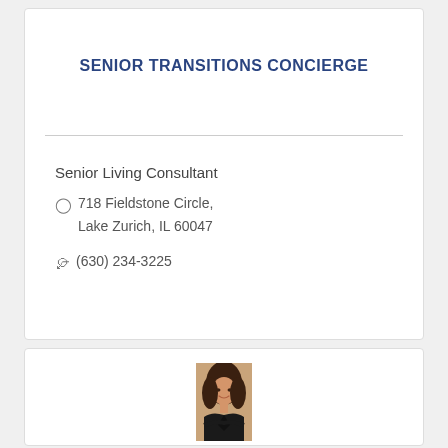SENIOR TRANSITIONS CONCIERGE
Senior Living Consultant
718 Fieldstone Circle, Lake Zurich, IL 60047
(630) 234-3225
[Figure (photo): Headshot photo of a woman with dark hair, wearing a black top, arms crossed, smiling]